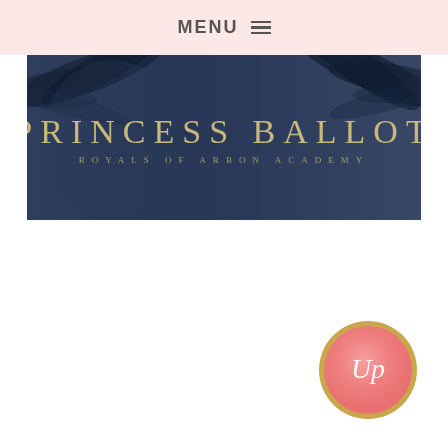MENU
[Figure (illustration): Book cover banner image for 'Princess Ballot: Royals of Arbon Academy' with dark blue/navy background with palm tree shadows and gold/white serif text]
[Figure (logo): Circular logo with gold border, pink gradient background, and white script 'Up' letters]